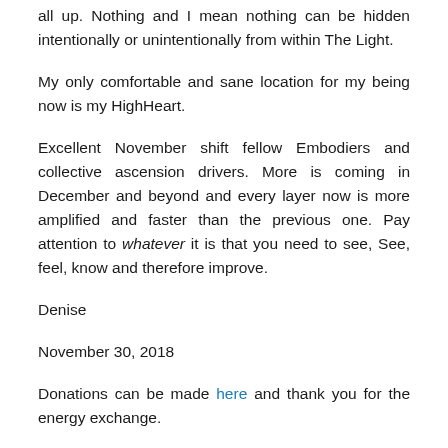all up. Nothing and I mean nothing can be hidden intentionally or unintentionally from within The Light.
My only comfortable and sane location for my being now is my HighHeart.
Excellent November shift fellow Embodiers and collective ascension drivers. More is coming in December and beyond and every layer now is more amplified and faster than the previous one. Pay attention to whatever it is that you need to see, See, feel, know and therefore improve.
Denise
November 30, 2018
Donations can be made here and thank you for the energy exchange.